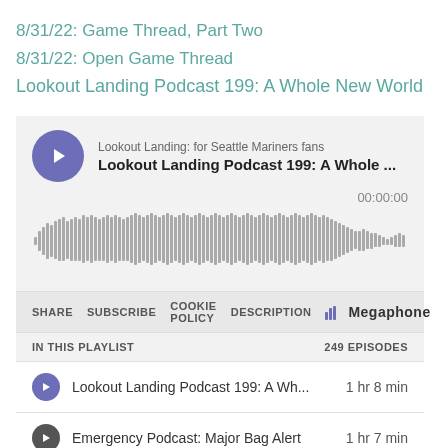8/31/22: Game Thread, Part Two
8/31/22: Open Game Thread
Lookout Landing Podcast 199: A Whole New World
[Figure (screenshot): Megaphone podcast embed player showing 'Lookout Landing Podcast 199: A Whole New World' with waveform audio visualization, share/subscribe/cookie policy/description controls, playlist with 249 episodes. First episode: Lookout Landing Podcast 199: A Wh... 1 hr 8 min. Second episode: Emergency Podcast: Major Bag Alert 1 hr 7 min.]